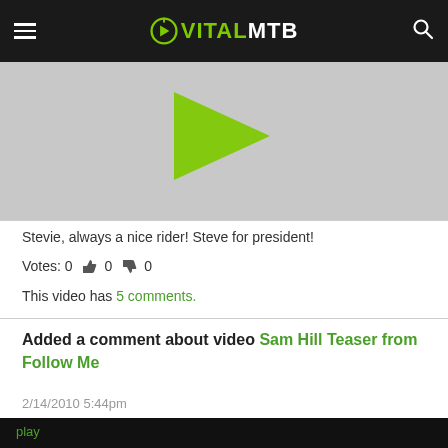VITALMTB
[Figure (screenshot): Video thumbnail showing a play button (green triangle) on a gray background, partially cropped]
Stevie, always a nice rider! Steve for president!
Votes: 0  👍0  👎0
This video has 5 comments.
Added a comment about video Sam Hill Teaser from Follow Me
2/14/2010 5:44pm
[Figure (screenshot): Video thumbnail of outdoor forest/trail scene, dark, with 'play' label in green at top-left]